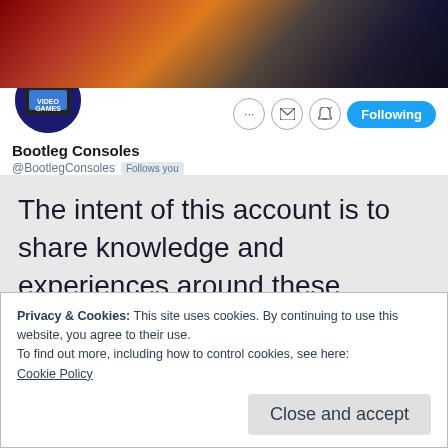[Figure (screenshot): Twitter/social media profile card for Bootleg Consoles account showing banner image with retro gaming imagery, circular avatar, and action buttons including Following]
Bootleg Consoles
@BootlegConsoles  Follows you
The intent of this account is to share knowledge and experiences around these devices, and does not condone piracy. You can support this project by simply sharing or subscribing to this twitter account, but also by sharing your own experiences with these
Privacy & Cookies: This site uses cookies. By continuing to use this website, you agree to their use.
To find out more, including how to control cookies, see here:
Cookie Policy
Close and accept